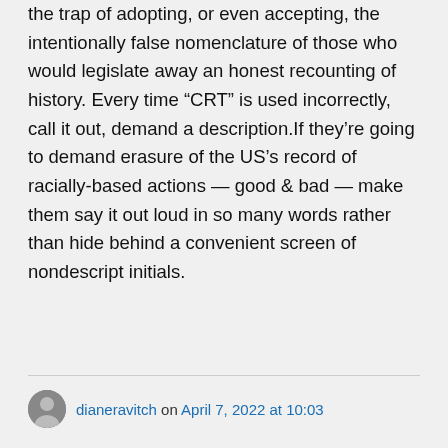the trap of adopting, or even accepting, the intentionally false nomenclature of those who would legislate away an honest recounting of history. Every time “CRT” is used incorrectly, call it out, demand a description.If they’re going to demand erasure of the US’s record of racially-based actions — good & bad — make them say it out loud in so many words rather than hide behind a convenient screen of nondescript initials.
dianeravitch on April 7, 2022 at 10:03